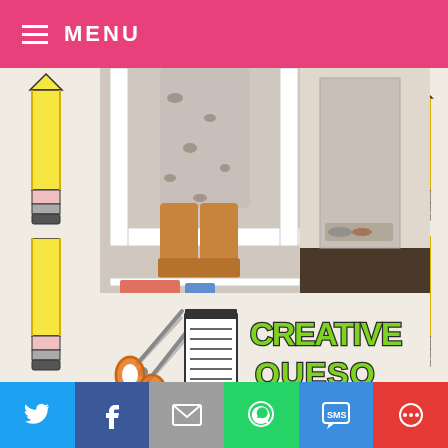MENU
[Figure (photo): A person wearing leopard print pants and tan suede boots sitting on a white shelf unit, with another shelf visible on the right side.]
[Figure (logo): Creative Queso logo with scissors, notepad, and bubbly green text reading 'CREATIVE QUESO']
Being a creative content designer is like any other freelance job.  Sometimes you have too much work and other times there is nuthin.  The key is being able to
[Figure (infographic): Social share bar with Twitter, Facebook, Email, WhatsApp, SMS, and More buttons]